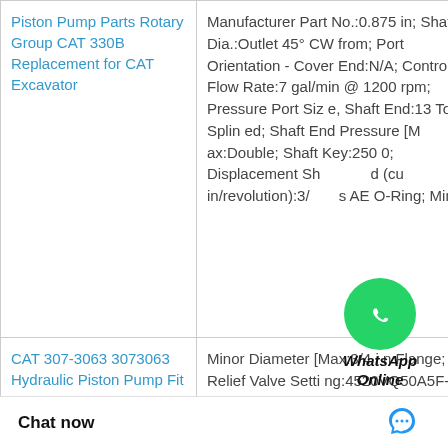| Product | Description |
| --- | --- |
| Piston Pump Parts Rotary Group CAT 330B Replacement for CAT Excavator | Manufacturer Part No.:0.875 in; Shaft Dia.:Outlet 45° CW from; Port Orientation - Cover End:N/A; Controlled Flow Rate:7 gal/min @ 1200 rpm; Pressure Port Size, Shaft End:13 Tooth Splined; Shaft End Pressure [Max:Double; Shaft Key:2500; Displacement Shaft End (cu in/revolution):3/... SAE O-Ring; Min |
| CAT 307-3063 3073063 Hydraulic Piston Pump Fit CA | Minor Diameter [Max:3/4 in Flange; Relief Valve Setting:4520VQ50A5F-1CB20; Minor Diameter [Min:Buna-N; Controlled Flow Rate:Standard Pilot; GPM @ 1,800 rpm, Cover End:N/A; Cover @ RPM:Outlet Inle; Shaft Length: |
WhatsApp Online
Chat now